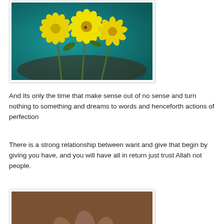[Figure (photo): Yellow flowers (daisies) in a teal/turquoise bowl, close-up photograph]
And Its only the time that make sense out of no sense and turn nothing to something and dreams to words and henceforth actions of perfection
There is a strong relationship between want and give that begin by giving you have, and you will have all in return just trust Allah not people.
[Figure (photo): Sepia-toned close-up photograph of elderly wrinkled hands with a ring]